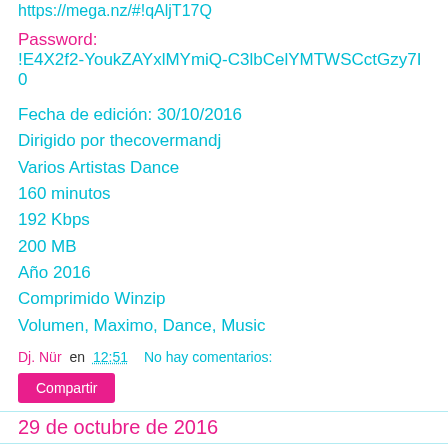https://mega.nz/#!qAljT17Q
Password:
!E4X2f2-YoukZAYxlMYmiQ-C3lbCelYMTWSCctGzy7I0
Fecha de edición: 30/10/2016
Dirigido por thecovermandj
Varios Artistas Dance
160 minutos
192 Kbps
200 MB
Año 2016
Comprimido Winzip
Volumen, Maximo, Dance, Music
Dj. Nür en 12:51    No hay comentarios:
Compartir
29 de octubre de 2016
Zona D Baile Autumn 2016
Zona D Baile Autumn 2016